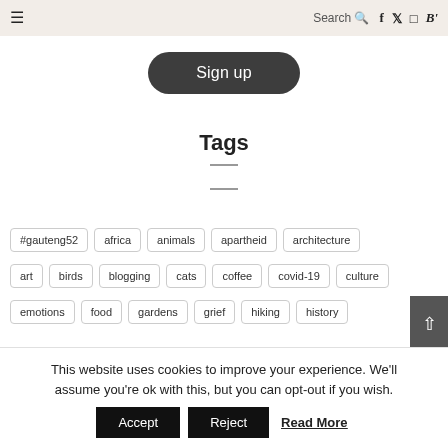☰  Search 🔍  f  𝕏  📷  B'
Sign up
Tags
#gauteng52
africa
animals
apartheid
architecture
art
birds
blogging
cats
coffee
covid-19
culture
emotions
food
gardens
grief
hiking
history
This website uses cookies to improve your experience. We'll assume you're ok with this, but you can opt-out if you wish.
Accept  Reject  Read More